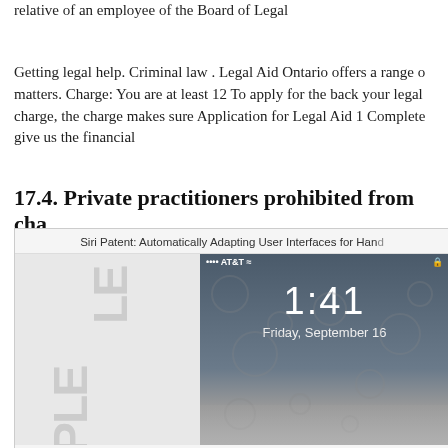relative of an employee of the Board of Legal
Getting legal help. Criminal law . Legal Aid Ontario offers a range of matters. Charge: You are at least 12 To apply for the back your legal charge, the charge makes sure Application for Legal Aid 1 Complete give us the financial
17.4. Private practitioners prohibited from cha
[Figure (screenshot): Screenshot showing a smartphone lock screen displaying time 1:41 and date Friday, September 16, with AT&T carrier and signal bars, overlaid on a patent document titled 'Siri Patent: Automatically Adapting User Interfaces for Hand...']